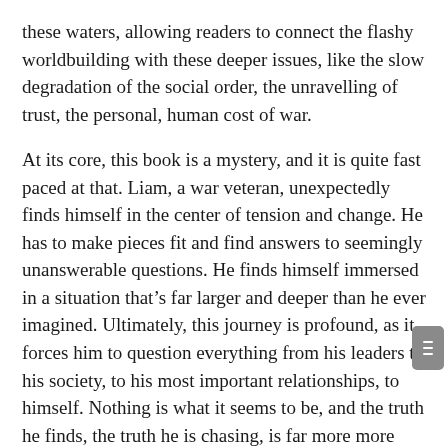these waters, allowing readers to connect the flashy worldbuilding with these deeper issues, like the slow degradation of the social order, the unravelling of trust, the personal, human cost of war.
At its core, this book is a mystery, and it is quite fast paced at that. Liam, a war veteran, unexpectedly finds himself in the center of tension and change. He has to make pieces fit and find answers to seemingly unanswerable questions. He finds himself immersed in a situation that's far larger and deeper than he ever imagined. Ultimately, this journey is profound, as it forces him to question everything from his leaders to his society, to his most important relationships, to himself. Nothing is what it seems to be, and the truth he finds, the truth he is chasing, is far more more pervasive than I anticipated. This book kept me guessing througho with no shortage of “ah ha” moments as the clues